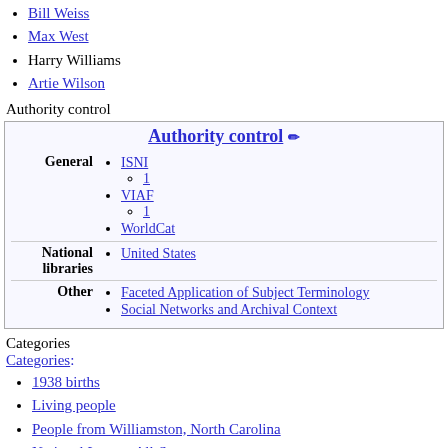Bill Weiss
Max West
Harry Williams
Artie Wilson
Authority control
Authority control
| Category | Links |
| --- | --- |
| General | ISNI 1 / VIAF 1 / WorldCat |
| National libraries | United States |
| Other | Faceted Application of Subject Terminology / Social Networks and Archival Context |
Categories
Categories:
1938 births
Living people
People from Williamston, North Carolina
National League All-Stars